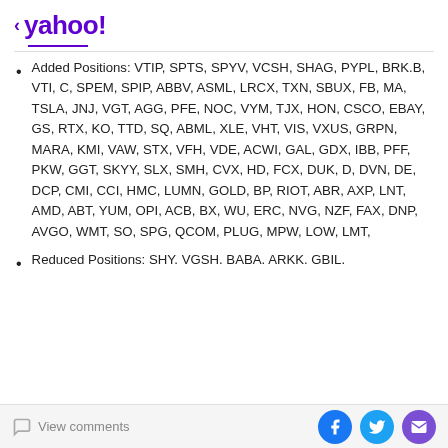< yahoo!
Added Positions: VTIP, SPTS, SPYV, VCSH, SHAG, PYPL, BRK.B, VTI, C, SPEM, SPIP, ABBV, ASML, LRCX, TXN, SBUX, FB, MA, TSLA, JNJ, VGT, AGG, PFE, NOC, VYM, TJX, HON, CSCO, EBAY, GS, RTX, KO, TTD, SQ, ABML, XLE, VHT, VIS, VXUS, GRPN, MARA, KMI, VAW, STX, VFH, VDE, ACWI, GAL, GDX, IBB, PFF, PKW, GGT, SKYY, SLX, SMH, CVX, HD, FCX, DUK, D, DVN, DE, DCP, CMI, CCI, HMC, LUMN, GOLD, BP, RIOT, ABR, AXP, LNT, AMD, ABT, YUM, OPI, ACB, BX, WU, ERC, NVG, NZF, FAX, DNP, AVGO, WMT, SO, SPG, QCOM, PLUG, MPW, LOW, LMT,
Reduced Positions: SHY. VGSH. BABA. ARKK. GBIL.
View comments